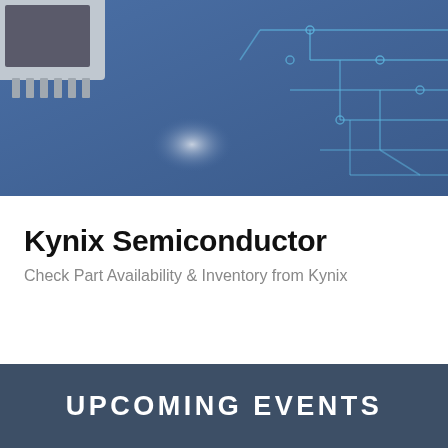[Figure (illustration): Blue circuit board banner with semiconductor chip in upper left and glowing circuit trace lines on blue background]
Kynix Semiconductor
Check Part Availability & Inventory from Kynix
Kynix
Get Quote >
UPCOMING EVENTS